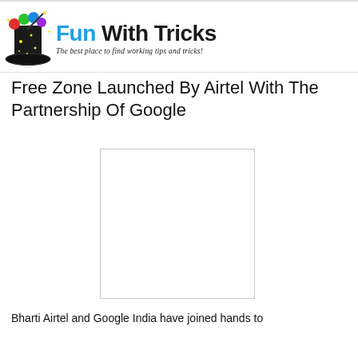[Figure (logo): Fun With Tricks website logo: magician hat icon on left, colorful text 'Fun With Tricks' in blue and black, subtitle 'The best place to find working tips and tricks!']
Free Zone Launched By Airtel With The Partnership Of Google
[Figure (photo): Blank white image placeholder with light border]
Bharti Airtel and Google India have joined hands to